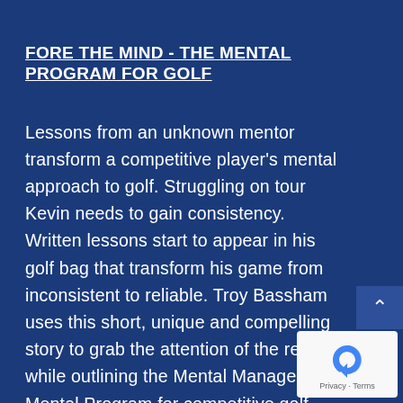FORE THE MIND - THE MENTAL PROGRAM FOR GOLF
Lessons from an unknown mentor transform a competitive player's mental approach to golf. Struggling on tour Kevin needs to gain consistency. Written lessons start to appear in his golf bag that transform his game from inconsistent to reliable. Troy Bassham uses this short, unique and compelling story to grab the attention of the reader while outlining the Mental Management Mental Program for competitive golf.
[Figure (other): reCAPTCHA badge with Privacy and Terms text]